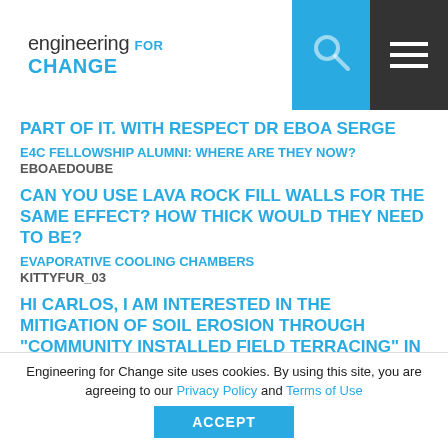engineering for change
PART OF IT. WITH RESPECT DR EBOA SERGE
E4C FELLOWSHIP ALUMNI: WHERE ARE THEY NOW?
EBOAEDOUBE
CAN YOU USE LAVA ROCK FILL WALLS FOR THE SAME EFFECT? HOW THICK WOULD THEY NEED TO BE?
EVAPORATIVE COOLING CHAMBERS
KITTYFUR_03
HI CARLOS, I AM INTERESTED IN THE MITIGATION OF SOIL EROSION THROUGH "COMMUNITY INSTALLED FIELD TERRACING" IN TECHNOLOGY-POOR LOCATIONS IN SOUTHERN AFRICA. I AM NOT A TRAINED PHYSICAL
Engineering for Change site uses cookies. By using this site, you are agreeing to our Privacy Policy and Terms of Use
ACCEPT